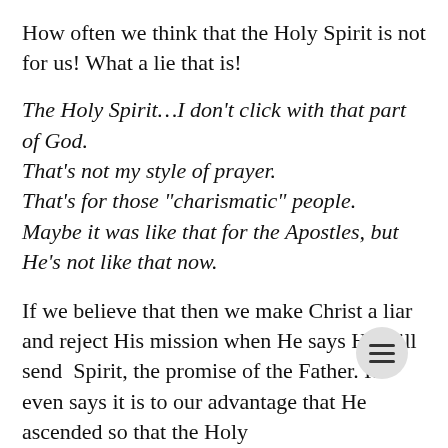How often we think that the Holy Spirit is not for us! What a lie that is!
The Holy Spirit…I don't click with that part of God.
That's not my style of prayer.
That's for those "charismatic" people.
Maybe it was like that for the Apostles, but He's not like that now.
If we believe that then we make Christ a liar and reject His mission when He says He will send the Spirit, the promise of the Father. He even says it is to our advantage that He ascended so that the Holy